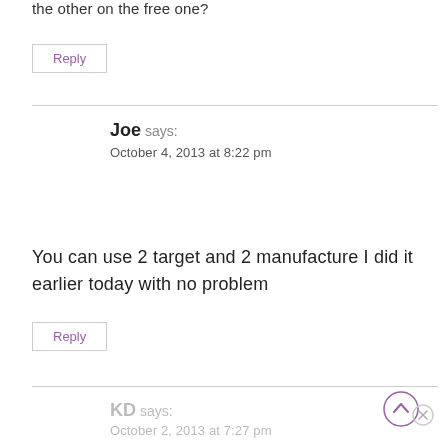the other on the free one?
Reply
Joe says:
October 4, 2013 at 8:22 pm
You can use 2 target and 2 manufacture I did it earlier today with no problem
Reply
KD says:
October 2, 2013 at 7:27 pm